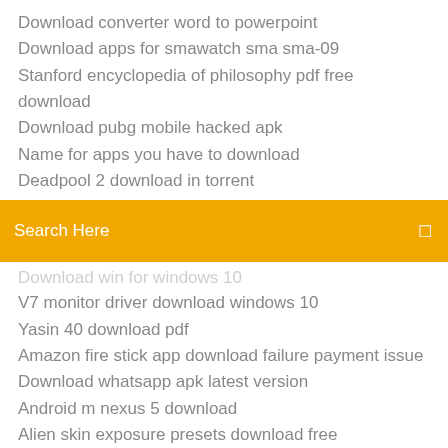Download converter word to powerpoint
Download apps for smawatch sma sma-09
Stanford encyclopedia of philosophy pdf free download
Download pubg mobile hacked apk
Name for apps you have to download
Deadpool 2 download in torrent
Search Here
Download win for windows 10
V7 monitor driver download windows 10
Yasin 40 download pdf
Amazon fire stick app download failure payment issue
Download whatsapp apk latest version
Android m nexus 5 download
Alien skin exposure presets download free
Very slow download speed ps4
Download wish online shopping app
Super cool minecraft map downloads
Where to download exile mod arma 3